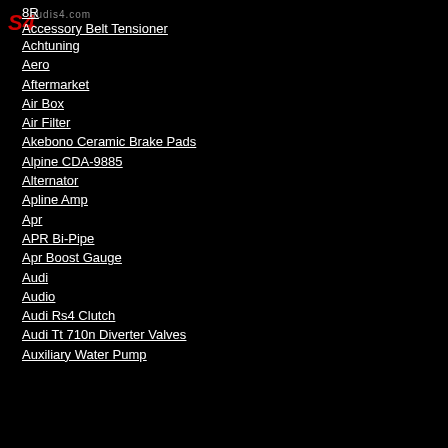[Figure (logo): AudiS4.com logo — red stylized 'S4' text on dark background]
8R
Accessory Belt Tensioner
Achtuning
Aero
Aftermarket
Air Box
Air Filter
Akebono Ceramic Brake Pads
Alpine CDA-9885
Alternator
Apline Amp
Apr
APR Bi-Pipe
Apr Boost Gauge
Audi
Audio
Audi Rs4 Clutch
Audi Tt 710n Diverter Valves
Auxiliary Water Pump